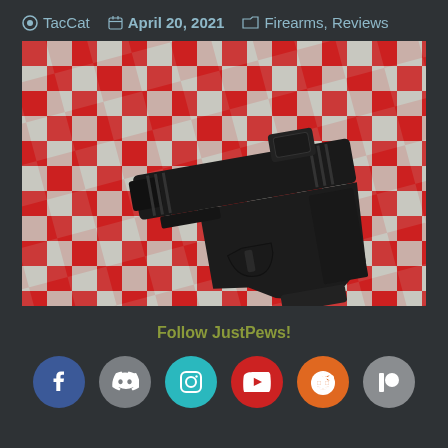TacCat  April 20, 2021  Firearms, Reviews
[Figure (photo): A black semi-automatic pistol (Glock) with a red dot optic sight mounted on the slide, resting on a red and white checkered tablecloth/surface.]
Follow JustPews!
[Figure (infographic): Row of six social media icons: Facebook (blue), Discord (gray), Instagram (teal), YouTube (red), Reddit (orange), Patreon (gray)]